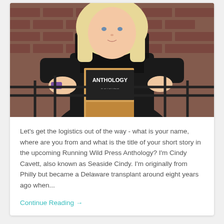[Figure (photo): A woman with blonde hair wearing a black lace top stands in front of a black metal railing with a brick wall background. She is holding up a book titled 'Anthology Stories'.]
Let's get the logistics out of the way - what is your name, where are you from and what is the title of your short story in the upcoming Running Wild Press Anthology? I'm Cindy Cavett, also known as Seaside Cindy. I'm originally from Philly but became a Delaware transplant around eight years ago when...
Continue Reading →